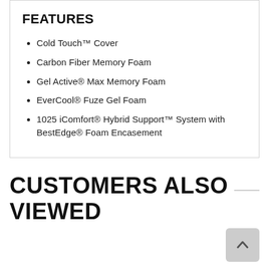FEATURES
Cold Touch™ Cover
Carbon Fiber Memory Foam
Gel Active® Max Memory Foam
EverCool® Fuze Gel Foam
1025 iComfort® Hybrid Support™ System with BestEdge® Foam Encasement
CUSTOMERS ALSO VIEWED